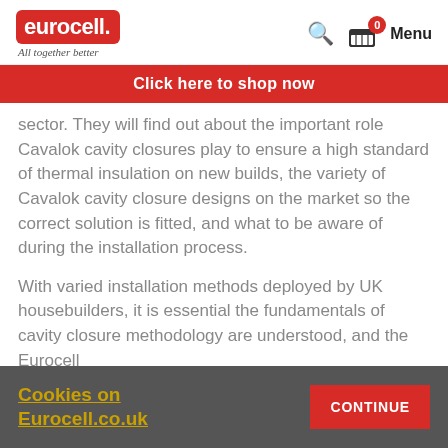eurocell. All together better — Search, Basket 0, Menu
Click here to shop now
sector. They will find out about the important role Cavalok cavity closures play to ensure a high standard of thermal insulation on new builds, the variety of Cavalok cavity closure designs on the market so the correct solution is fitted, and what to be aware of during the installation process.
With varied installation methods deployed by UK housebuilders, it is essential the fundamentals of cavity closure methodology are understood, and the Eurocell
Cookies on Eurocell.co.uk — CONTINUE